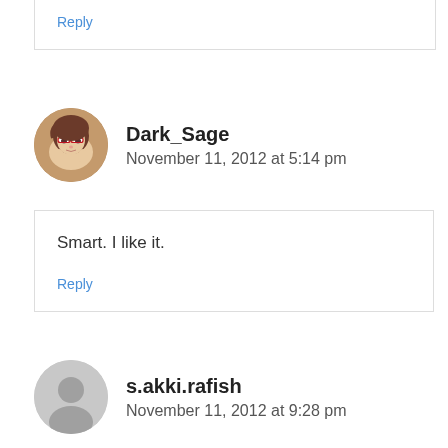Reply
Dark_Sage
November 11, 2012 at 5:14 pm
Smart. I like it.
Reply
s.akki.rafish
November 11, 2012 at 9:28 pm